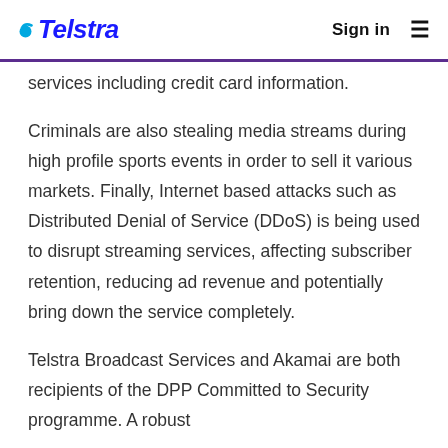Telstra | Sign in
services including credit card information.
Criminals are also stealing media streams during high profile sports events in order to sell it various markets. Finally, Internet based attacks such as Distributed Denial of Service (DDoS) is being used to disrupt streaming services, affecting subscriber retention, reducing ad revenue and potentially bring down the service completely.
Telstra Broadcast Services and Akamai are both recipients of the DPP Committed to Security programme. A robust...